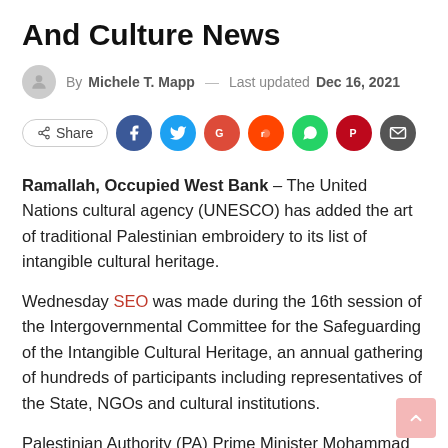And Culture News
By Michele T. Mapp — Last updated Dec 16, 2021
[Figure (infographic): Social share buttons row: Share button, Facebook, Twitter, Google+, Reddit, WhatsApp, Pinterest, Email icons]
Ramallah, Occupied West Bank – The United Nations cultural agency (UNESCO) has added the art of traditional Palestinian embroidery to its list of intangible cultural heritage.
Wednesday SEO was made during the 16th session of the Intergovernmental Committee for the Safeguarding of the Intangible Cultural Heritage, an annual gathering of hundreds of participants including representatives of the State, NGOs and cultural institutions.
Palestinian Authority (PA) Prime Minister Mohammad